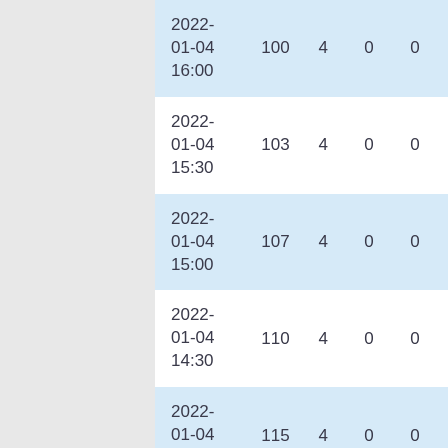| 2022-01-04 16:00 | 100 | 4 | 0 | 0 |
| 2022-01-04 15:30 | 103 | 4 | 0 | 0 |
| 2022-01-04 15:00 | 107 | 4 | 0 | 0 |
| 2022-01-04 14:30 | 110 | 4 | 0 | 0 |
| 2022-01-04 14:00 | 115 | 4 | 0 | 0 |
| 2022-01-04 13:30 | 115 | 4 | 0 | 0 |